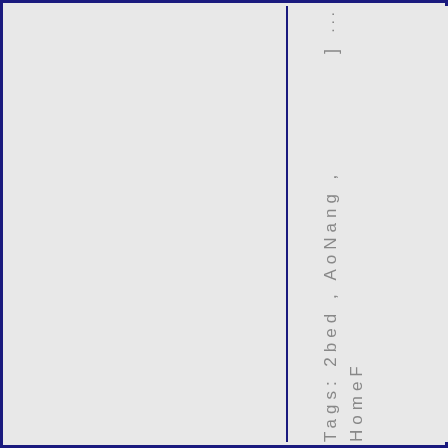...
]
Tags: 2bed , AoNang , HomeF